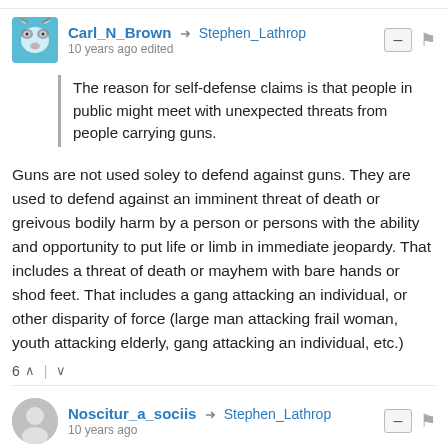Carl_N_Brown → Stephen_Lathrop
10 years ago edited
The reason for self-defense claims is that people in public might meet with unexpected threats from people carrying guns.
Guns are not used soley to defend against guns. They are used to defend against an imminent threat of death or greivous bodily harm by a person or persons with the ability and opportunity to put life or limb in immediate jeopardy. That includes a threat of death or mayhem with bare hands or shod feet. That includes a gang attacking an individual, or other disparity of force (large man attacking frail woman, youth attacking elderly, gang attacking an individual, etc.)
6 ▲ | ▼
Noscitur_a_sociis → Stephen_Lathrop
10 years ago
"Please, I'm familiar with the oft-cited statistics from Florida, etc.,